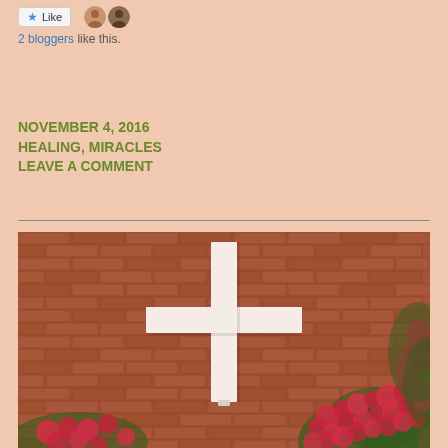Like | 2 bloggers like this.
NOVEMBER 4, 2016
HEALING, MIRACLES
LEAVE A COMMENT
[Figure (photo): White Christian cross mounted on a red brick church wall, with bright pink flowering crape myrtle trees in the foreground and background]